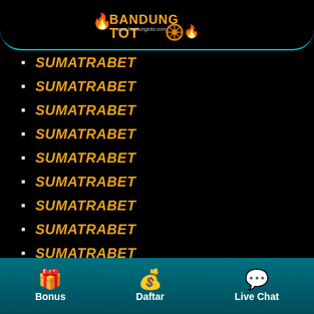[Figure (logo): Bandung Toto logo with flame and wheel icon, www.bandungtoto.com]
SUMATRABET
SUMATRABET
SUMATRABET
SUMATRABET
SUMATRABET
SUMATRABET
SUMATRABET
SUMATRABET
SUMATRABET
SUMATRABET
SUMATRABET
PREDIKSI HARIAN TOTO
Bonus | Daftar | Live Chat